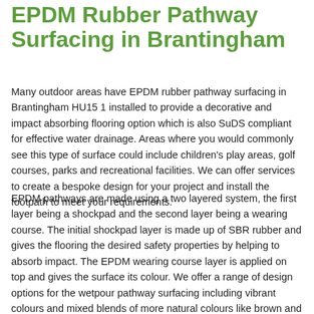EPDM Rubber Pathway Surfacing in Brantingham
Many outdoor areas have EPDM rubber pathway surfacing in Brantingham HU15 1 installed to provide a decorative and impact absorbing flooring option which is also SuDS compliant for effective water drainage. Areas where you would commonly see this type of surface could include children's play areas, golf courses, parks and recreational facilities. We can offer services to create a bespoke design for your project and install the footpath to meet your requirements.
EPDM pathways are made using a two layered system, the first layer being a shockpad and the second layer being a wearing course. The initial shockpad layer is made up of SBR rubber and gives the flooring the desired safety properties by helping to absorb impact. The EPDM wearing course layer is applied on top and gives the surface its colour. We offer a range of design options for the wetpour pathway surfacing including vibrant colours and mixed blends of more natural colours like brown and grey. The rubber system is completely porous meaning it is suitable for all weather